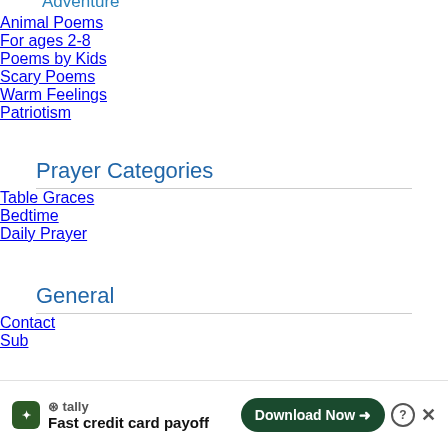Adventure
Animal Poems
For ages 2-8
Poems by Kids
Scary Poems
Warm Feelings
Patriotism
Prayer Categories
Table Graces
Bedtime
Daily Prayer
General
Contact
Sub
[Figure (infographic): Tally app advertisement banner: 'Fast credit card payoff' with Download Now button]